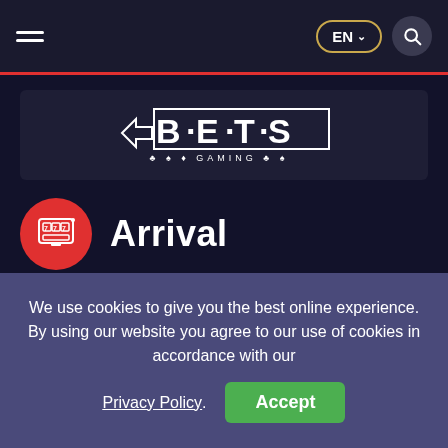EN navigation header with hamburger menu, language selector (EN), and search button
[Figure (logo): BetSoft Gaming logo — stylized text logo with arrows and card suit symbols]
Arrival
Home — BetSoft — Arrival
We use cookies to give you the best online experience. By using our website you agree to our use of cookies in accordance with our Privacy Policy. Accept